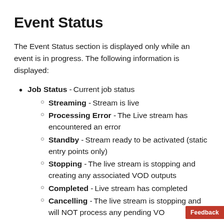Event Status
The Event Status section is displayed only while an event is in progress. The following information is displayed:
Job Status - Current job status
Streaming - Stream is live
Processing Error - The Live stream has encountered an error
Standby - Stream ready to be activated (static entry points only)
Stopping - The live stream is stopping and creating any associated VOD outputs
Completed - Live stream has completed
Cancelling - The live stream is stopping and will NOT process any pending VO